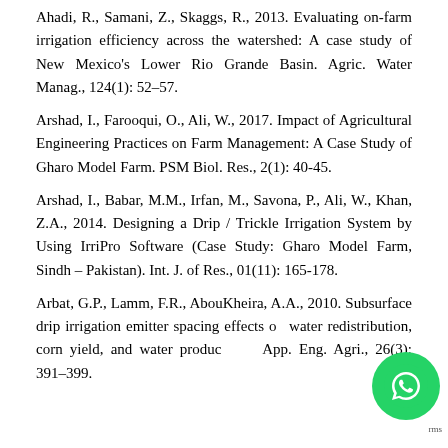Ahadi, R., Samani, Z., Skaggs, R., 2013. Evaluating on-farm irrigation efficiency across the watershed: A case study of New Mexico's Lower Rio Grande Basin. Agric. Water Manag., 124(1): 52–57.
Arshad, I., Farooqui, O., Ali, W., 2017. Impact of Agricultural Engineering Practices on Farm Management: A Case Study of Gharo Model Farm. PSM Biol. Res., 2(1): 40-45.
Arshad, I., Babar, M.M., Irfan, M., Savona, P., Ali, W., Khan, Z.A., 2014. Designing a Drip / Trickle Irrigation System by Using IrriPro Software (Case Study: Gharo Model Farm, Sindh – Pakistan). Int. J. of Res., 01(11): 165-178.
Arbat, G.P., Lamm, F.R., AbouKheira, A.A., 2010. Subsurface drip irrigation emitter spacing effects on water redistribution, corn yield, and water productivity. App. Eng. Agri., 26(3): 391–399.